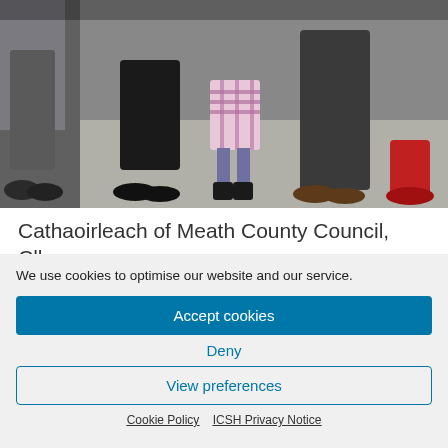[Figure (photo): Cropped photo showing lower bodies and feet of several people standing on concrete, including a child in a plaid skirt and black boots, and adults in various footwear.]
Cathaoirleach of Meath County Council, Cllr. Séan Reamonn and An Taoiseach Micheál…
We use cookies to optimise our website and our service.
Accept cookies
Deny
View preferences
Cookie Policy   ICSH Privacy Notice